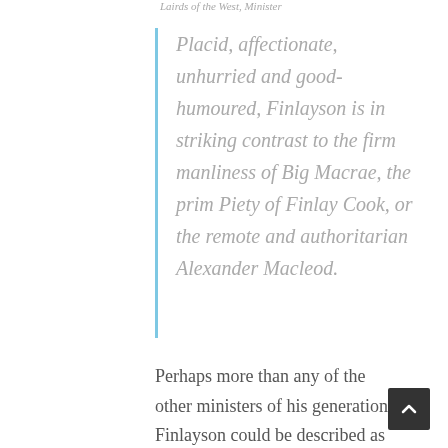Lairds of the West, Minister
Placid, affectionate, unhurried and good-humoured, Finlayson is in striking contrast to the firm manliness of Big Macrae, the prim Piety of Finlay Cook, or the remote and authoritarian Alexander Macleod.
Perhaps more than any of the other ministers of his generation, Finlayson could be described as a people person – something that can be quite rare amongst ministers, even in our own day. It was said of him that there wasn't a